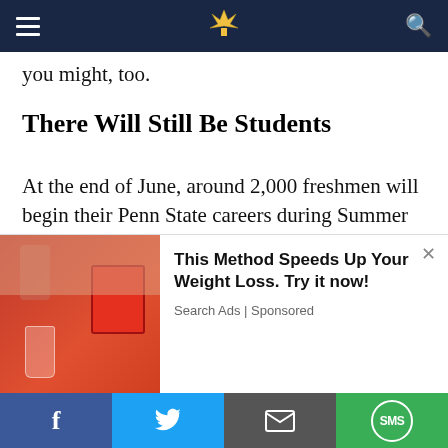Navigation bar with hamburger menu, logo, and search icon
you might, too.
There Will Still Be Students
At the end of June, around 2,000 freshmen will begin their Penn State careers during Summer Session II. Personally, I feel like having students again is a nice sight, but I can see where others may not enjoy young, first-time students coming to campus and trying to get their lay of the land.
There will be some line waiting once again
[Figure (advertisement): Ad overlay with image of person pouring drink on left, and text 'This Method Speeds Up Your Weight Loss. Try it now!' with 'Search Ads | Sponsored' on right, close button in corner]
Social share bar: Facebook, Twitter, Email, SMS